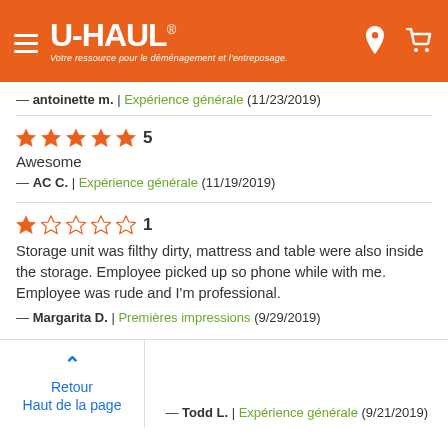[Figure (logo): U-Haul logo with orange background, hamburger menu, location pin and cart icons]
— antoinette m. | Expérience générale (11/23/2019)
★★★★★ 5
Awesome
— AC C. | Expérience générale (11/19/2019)
★☆☆☆☆ 1
Storage unit was filthy dirty, mattress and table were also inside the storage. Employee picked up so phone while with me. Employee was rude and I'm professional.
— Margarita D. | Premières impressions (9/29/2019)
Retour
Haut de la page
— Todd L. | Expérience générale (9/21/2019)